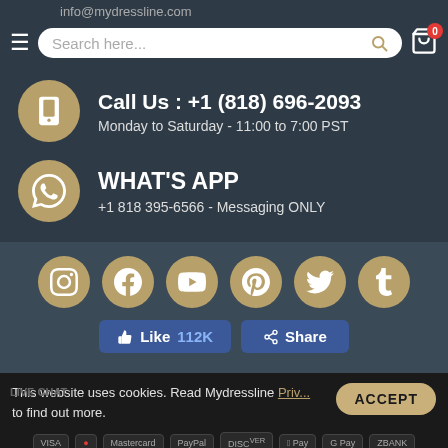info@mydressline.com
Search here...
Call Us : +1 (818) 696-2093
Monday to Saturday - 11:00 to 7:00 PST
WHAT'S APP
+1 818 395-6566 - Messaging ONLY
[Figure (infographic): Social media icons row: Instagram, Facebook, YouTube, Pinterest, Twitter, Tumblr — all gold circles with white icons]
Like 112K   Share
This website uses cookies. Read Mydressline Priv... to find out more.
ACCEPT
LIVE CHAT
Payment icons: Visa, Mastercard, PayPal, Discover, Apple Pay, Google Pay, ZBANK, Sezzle